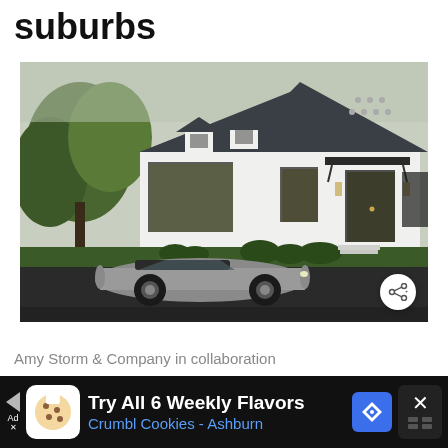suburbs
[Figure (photo): A modern white suburban house with a dark slate roof, dormer windows, black-framed windows and doors with a metal awning over the entrance. A silver Porsche 911 convertible is parked in the driveway. Trees are visible on the left side. A share button is visible in the bottom right corner of the photo.]
Amy Storm & Company in collaboration
[Figure (other): Advertisement bar at the bottom. Shows Crumbl Cookies ad: 'Try All 6 Weekly Flavors' and 'Crumbl Cookies - Ashburn' with cookie icon, navigation arrow, and close button.]